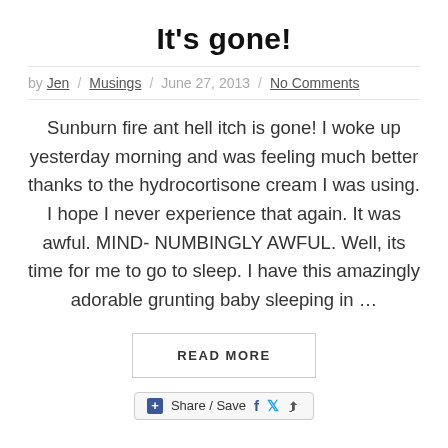It's gone!
by Jen / Musings / June 27, 2013 / No Comments
Sunburn fire ant hell itch is gone! I woke up yesterday morning and was feeling much better thanks to the hydrocortisone cream I was using. I hope I never experience that again. It was awful. MIND-NUMBINGLY AWFUL. Well, its time for me to go to sleep. I have this amazingly adorable grunting baby sleeping in …
READ MORE
Share / Save